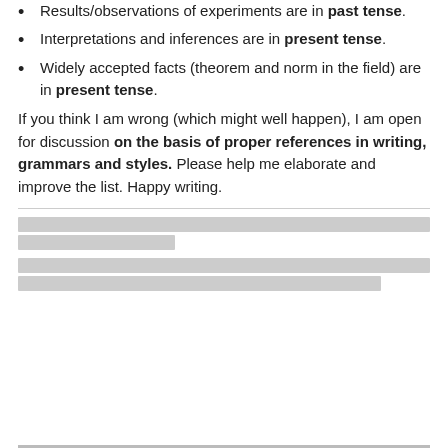Results/observations of experiments are in past tense.
Interpretations and inferences are in present tense.
Widely accepted facts (theorem and norm in the field) are in present tense.
If you think I am wrong (which might well happen), I am open for discussion on the basis of proper references in writing, grammars and styles. Please help me elaborate and improve the list. Happy writing.
[redacted content block 1]
[redacted content block 2]